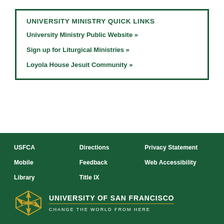UNIVERSITY MINISTRY QUICK LINKS
University Ministry Public Website »
Sign up for Liturgical Ministries »
Loyola House Jesuit Community »
USFCA | Directions | Privacy Statement | Mobile | Feedback | Web Accessibility | Library | Title IX | UNIVERSITY OF SAN FRANCISCO CHANGE THE WORLD FROM HERE